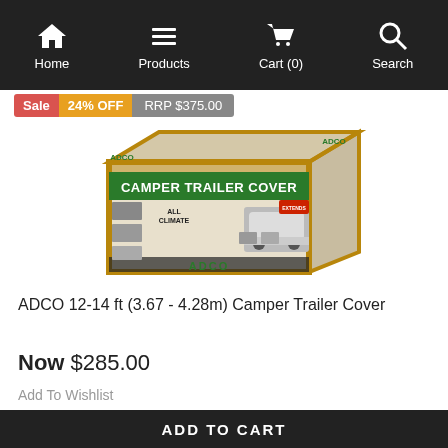Home  Products  Cart (0)  Search
Sale  24% OFF  RRP $375.00
[Figure (photo): ADCO Camper Trailer Cover product box, showing an all-climate camper trailer cover with trailer photo on packaging, gold and black border design with ADCO branding.]
ADCO 12-14 ft (3.67 - 4.28m) Camper Trailer Cover
Now $285.00
Add To Wishlist
ADD TO CART